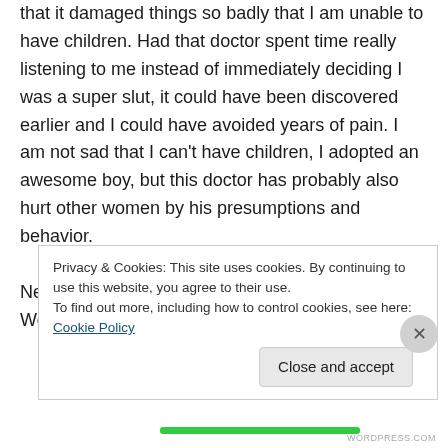that it damaged things so badly that I am unable to have children. Had that doctor spent time really listening to me instead of immediately deciding I was a super slut, it could have been discovered earlier and I could have avoided years of pain. I am not sad that I can't have children, I adopted an awesome boy, but this doctor has probably also hurt other women by his presumptions and behavior.

Never make asinine assumptions about women. We can game, we can be geeky and we come in
Privacy & Cookies: This site uses cookies. By continuing to use this website, you agree to their use.
To find out more, including how to control cookies, see here: Cookie Policy
Close and accept